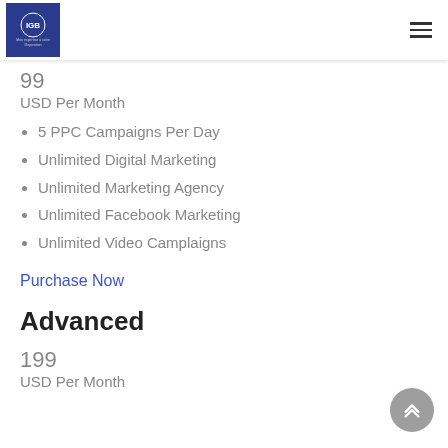IGB logo and navigation menu
99
USD Per Month
5 PPC Campaigns Per Day
Unlimited Digital Marketing
Unlimited Marketing Agency
Unlimited Facebook Marketing
Unlimited Video Camplaigns
Purchase Now
Advanced
199
USD Per Month